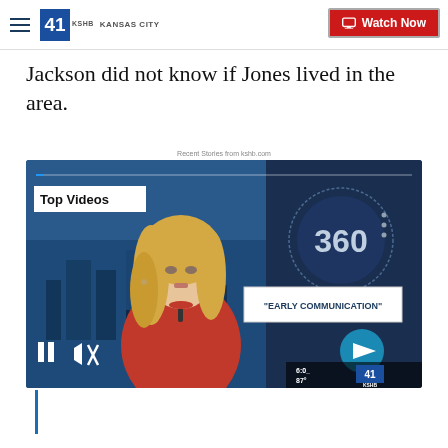KSHB 41 Kansas City | Watch Now
Jackson did not know if Jones lived in the area.
Recent Stories from kshb.com
[Figure (screenshot): Video player screenshot showing a female news anchor in red on a TV broadcast with 'Top Videos' label, '360' graphic, and '"EARLY COMMUNICATION"' banner. Pause button, mute button, and forward arrow controls visible. Bottom right shows time 6:0_, temperature 87°, and KSHB logo. A blue progress bar runs along the top of the player.]